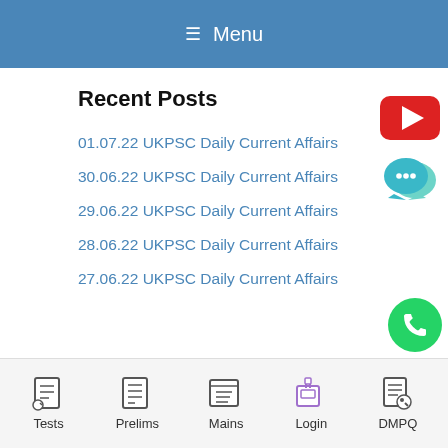☰ Menu
Recent Posts
01.07.22 UKPSC Daily Current Affairs
30.06.22 UKPSC Daily Current Affairs
29.06.22 UKPSC Daily Current Affairs
28.06.22 UKPSC Daily Current Affairs
27.06.22 UKPSC Daily Current Affairs
[Figure (illustration): YouTube button icon (red rounded rectangle with white play triangle)]
[Figure (illustration): Chat bubble icons (teal/green overlapping speech bubbles with three dots)]
[Figure (illustration): WhatsApp floating action button (green circle with phone icon)]
Tests  Prelims  Mains  Login  DMPQ